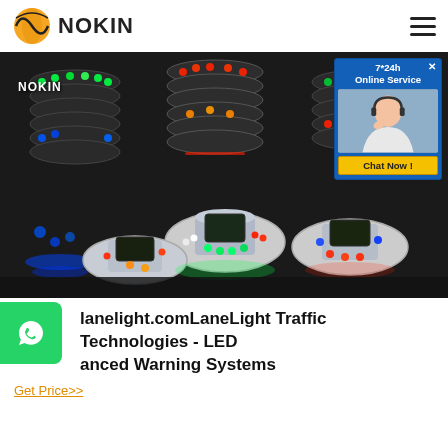NOKIN
[Figure (photo): Photo of stacked LED road stud markers/solar road reflectors in multiple colors (green, red, blue, amber) with the NOKIN watermark, plus several individual units on a dark surface. An online service chat popup is overlaid in the top right corner.]
lanelight.comLaneLight Traffic Technologies - LED anced Warning Systems
Get Price>>